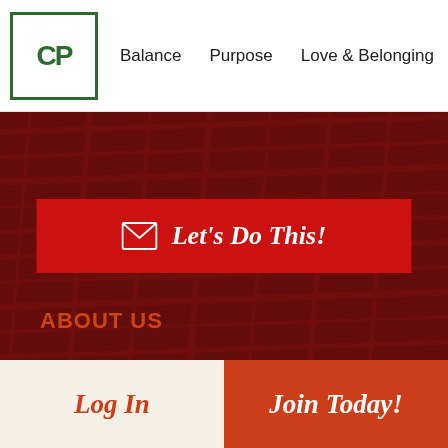[Figure (logo): CP logo in green box with border]
Balance   Purpose   Love & Belonging
[Figure (infographic): Dark red textured hero background with red CTA button reading envelope icon and Let's Do This!]
ABOUT US
Log In
Join Today!